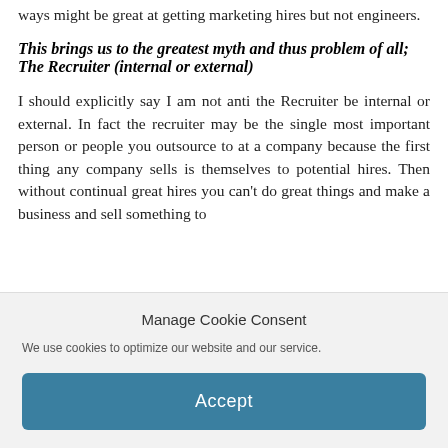ways might be great at getting marketing hires but not engineers.
This brings us to the greatest myth and thus problem of all; The Recruiter (internal or external)
I should explicitly say I am not anti the Recruiter be internal or external. In fact the recruiter may be the single most important person or people you outsource to at a company because the first thing any company sells is themselves to potential hires. Then without continual great hires you can't do great things and make a business and sell something to
Manage Cookie Consent
We use cookies to optimize our website and our service.
Accept